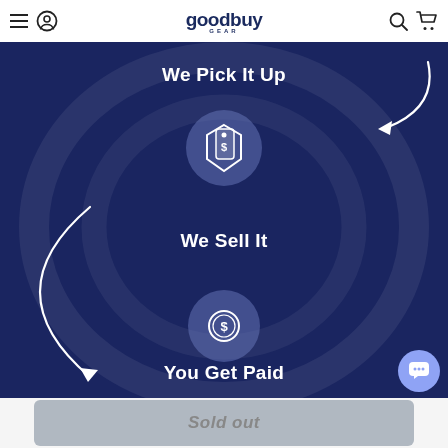goodbuy GEAR navigation bar with hamburger menu, user icon, logo, search and cart icons
[Figure (infographic): Dark navy blue banner showing a 3-step process: 'We Pick It Up' at top with a price tag icon circle, 'We Sell It' in the middle with a price tag/dollar icon circle, 'You Get Paid' at the bottom with a coin/dollar icon circle. White curved arrows connect the steps in a circular flow pattern.]
We Pick It Up
We Sell It
You Get Paid
Sold out